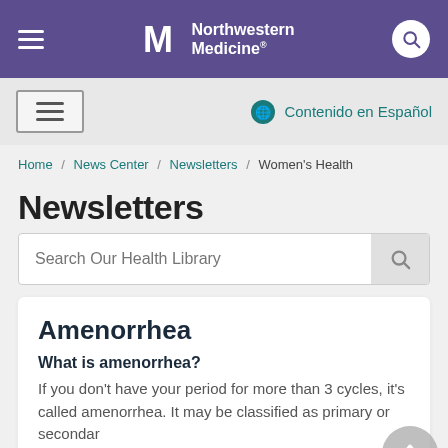Northwestern Medicine
Contenido en Español
Home / News Center / Newsletters / Women's Health
Newsletters
Search Our Health Library
Amenorrhea
What is amenorrhea?
If you don't have your period for more than 3 cycles, it's called amenorrhea. It may be classified as primary or secondary.